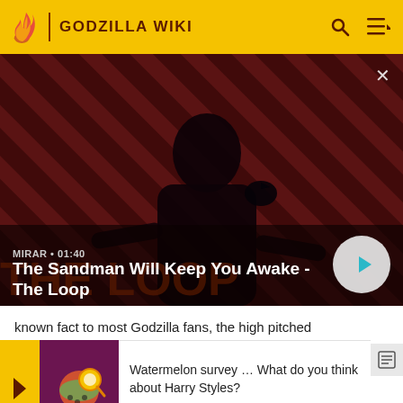GODZILLA WIKI
[Figure (screenshot): Video thumbnail: The Sandman character with a raven on shoulder against red and dark striped background. Shows label MIRAR · 01:40, title 'The Sandman Will Keep You Awake - The Loop', and a play button.]
known fact to most Godzilla fans, the high pitched screeches of Rodan were quick recycles of Varan's roa
They
The ro
from
[Figure (screenshot): Notification overlay: Watermelon survey image thumbnail, text 'Watermelon survey … What do you think about Harry Styles?', CTA 'TAKE THE SURVEY HERE']